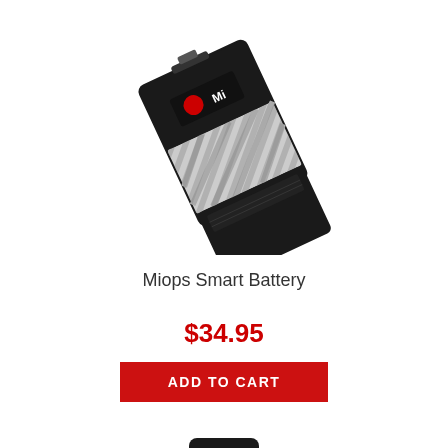[Figure (photo): Miops Smart Battery product photo — a small rectangular battery pack with black and silver/white striped design and a red logo, shown at a slight angle on a white background.]
Miops Smart Battery
$34.95
ADD TO CART
[Figure (photo): Miops Smart camera trigger device — a black and orange handheld device with a display screen and orange navigation buttons, viewed from the front, partially visible at the bottom of the page.]